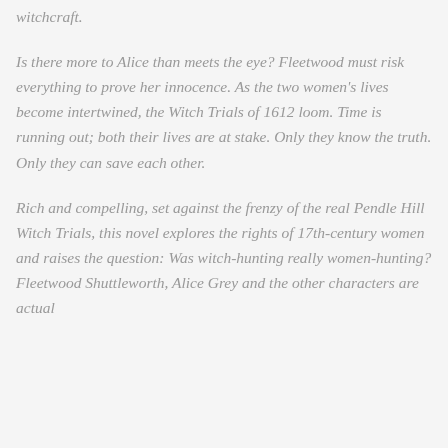witchcraft.
Is there more to Alice than meets the eye? Fleetwood must risk everything to prove her innocence. As the two women’s lives become intertwined, the Witch Trials of 1612 loom. Time is running out; both their lives are at stake. Only they know the truth. Only they can save each other.
Rich and compelling, set against the frenzy of the real Pendle Hill Witch Trials, this novel explores the rights of 17th-century women and raises the question: Was witch-hunting really women-hunting? Fleetwood Shuttleworth, Alice Grey and the other characters are actual